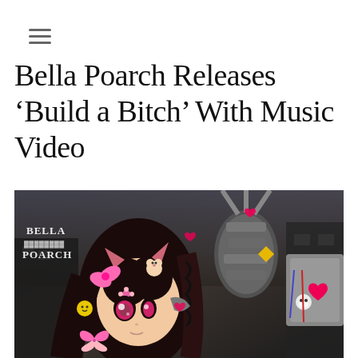≡
Bella Poarch Releases ‘Build a Bitch’ With Music Video
[Figure (illustration): Anime-style illustration of Bella Poarch as a chibi character with long black hair, pink eyes, wearing cat ears. She has pink butterfly and bow hair accessories, a cute bear clip, and a smiley face sticker on her hair. A large mechanical robotic arm/claw is beside her with heart symbols and a skull. A 'Bella Poarch' logo in metal/gothic text is in the upper left. Dark moody background with ruins.]